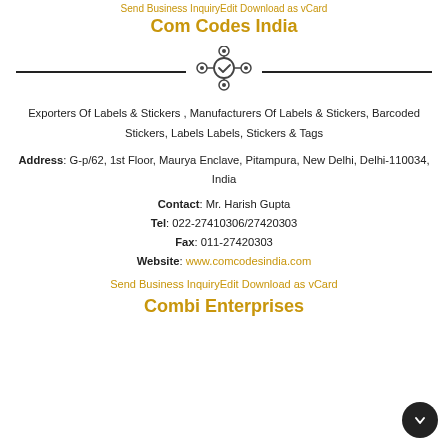Com Codes India
[Figure (illustration): Network/hub icon with central circle connected to four outer circles, horizontal lines on either side]
Exporters Of Labels & Stickers , Manufacturers Of Labels & Stickers, Barcoded Stickers, Labels Labels, Stickers & Tags
Address: G-p/62, 1st Floor, Maurya Enclave, Pitampura, New Delhi, Delhi-110034, India
Contact: Mr. Harish Gupta
Tel: 022-27410306/27420303
Fax: 011-27420303
Website: www.comcodesindia.com
Send Business InquiryEdit Download as vCard
Combi Enterprises